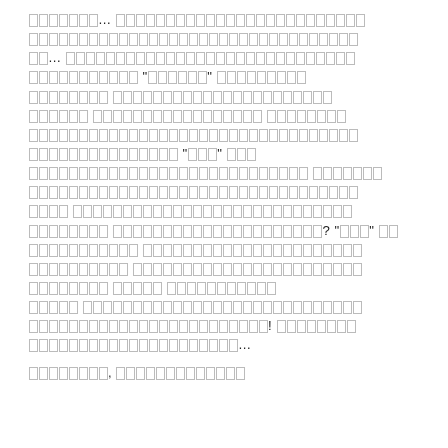[Non-Latin script text block - appears to be encoded/placeholder characters representing body text with quotation marks and punctuation including ? and !]
[Non-Latin script section header line at bottom]